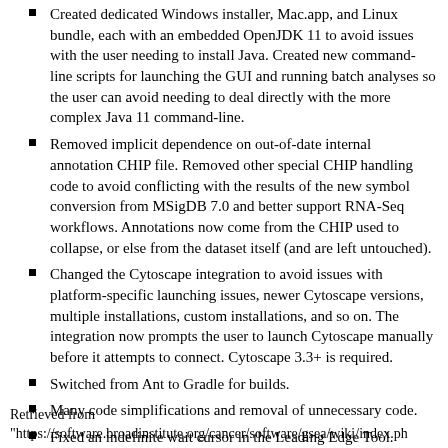Created dedicated Windows installer, Mac.app, and Linux bundle, each with an embedded OpenJDK 11 to avoid issues with the user needing to install Java. Created new command-line scripts for launching the GUI and running batch analyses so the user can avoid needing to deal directly with the more complex Java 11 command-line.
Removed implicit dependence on out-of-date internal annotation CHIP file. Removed other special CHIP handling code to avoid conflicting with the results of the new symbol conversion from MSigDB 7.0 and better support RNA-Seq workflows. Annotations now come from the CHIP used to collapse, or else from the dataset itself (and are left untouched).
Changed the Cytoscape integration to avoid issues with platform-specific launching issues, newer Cytoscape versions, multiple installations, custom installations, and so on. The integration now prompts the user to launch Cytoscape manually before it attempts to connect. Cytoscape 3.3+ is required.
Switched from Ant to Gradle for builds.
Many code simplifications and removal of unnecessary code.
Fixed an indefinite wait cursor in the Leading Edge Tool.
Retrieved from
"https://software.broadinstitute.org/cancer/software/gsea/wiki/index.ph